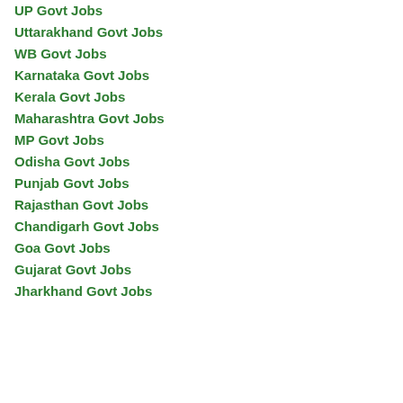UP Govt Jobs
Uttarakhand Govt Jobs
WB Govt Jobs
Karnataka Govt Jobs
Kerala Govt Jobs
Maharashtra Govt Jobs
MP Govt Jobs
Odisha Govt Jobs
Punjab Govt Jobs
Rajasthan Govt Jobs
Chandigarh Govt Jobs
Goa Govt Jobs
Gujarat Govt Jobs
Jharkhand Govt Jobs